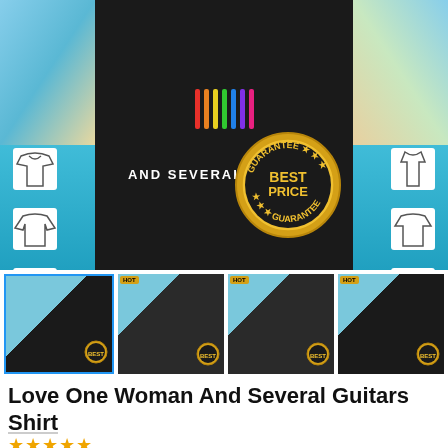[Figure (photo): Product listing screenshot for a 'Love One Woman And Several Guitars' shirt. Main image shows a black t-shirt with colorful guitar graphic and text 'AND SEVERAL GUITARS' on a beach background. A gold 'BEST PRICE GUARANTEE' badge is overlaid. Left and right side panels show clothing style icons (hoodie, long-sleeve, onesie, tank top, t-shirt, zip-up). Below the main image are four thumbnail images showing the shirt in different styles (t-shirt, hoodie, tank top, long-sleeve).]
Love One Woman And Several Guitars Shirt
[Figure (other): Five orange/gold star rating icons]